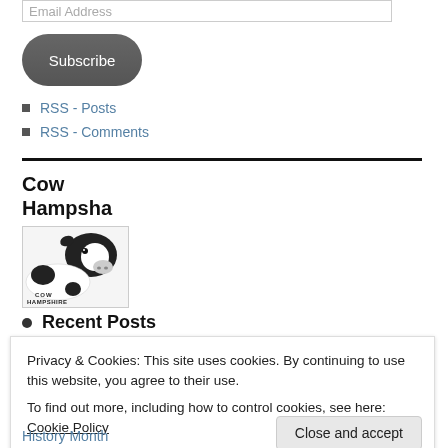Email Address
Subscribe
RSS - Posts
RSS - Comments
Cow Hampsha
[Figure (illustration): Cow Hampshire Shopping logo: black and white cow with text COW HAMPSHIRE SHOPPING below]
Recent Posts
Privacy & Cookies: This site uses cookies. By continuing to use this website, you agree to their use.
To find out more, including how to control cookies, see here: Cookie Policy
Close and accept
History Month